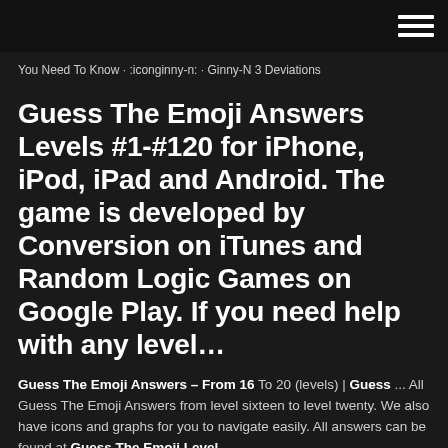You Need To Know · :iconginny-n: · Ginny-N 3 Deviations
Guess The Emoji Answers Levels #1-#120 for iPhone, iPod, iPad and Android. The game is developed by Conversion on iTunes and Random Logic Games on Google Play. If you need help with any level…
Guess The Emoji Answers – From 16 To 20 (levels) | Guess ... All Guess The Emoji Answers from level sixteen to level twenty. We also have icons and graphs for you to navigate easily. All answers can be found at Guess The Emoji Level